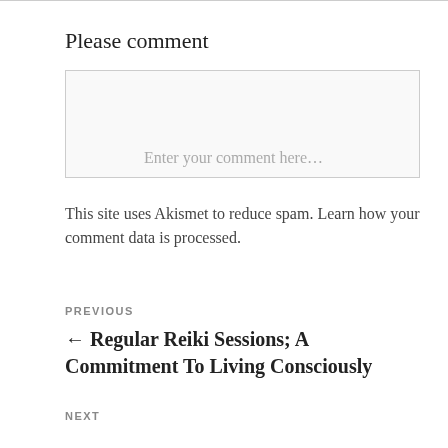Please comment
[Figure (other): Comment text input box with placeholder text: Enter your comment here...]
This site uses Akismet to reduce spam. Learn how your comment data is processed.
PREVIOUS
← Regular Reiki Sessions; A Commitment To Living Consciously
NEXT